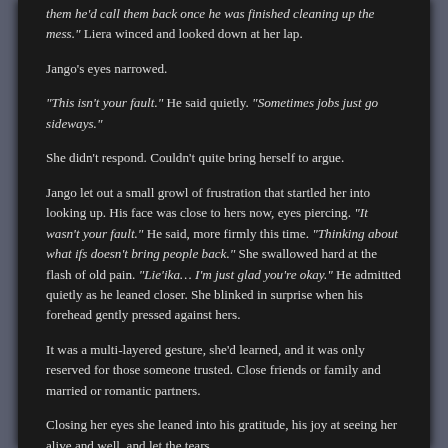them he'd call them back once he was finished cleaning up the mess." Liera winced and looked down at her lap.

Jango's eyes narrowed.

"This isn't your fault." He said quietly. "Sometimes jobs just go sideways."

She didn't respond. Couldn't quite bring herself to argue.

Jango let out a small growl of frustration that startled her into looking up. His face was close to hers now, eyes piercing. "It wasn't your fault." He said, more firmly this time. "Thinking about what ifs doesn't bring people back." She swallowed hard at the flash of old pain. "Lie'ika… I'm just glad you're okay." He admitted quietly as he leaned closer. She blinked in surprise when his forehead gently pressed against hers.

It was a multi-layered gesture, she'd learned, and it was only reserved for those someone trusted. Close friends or family and married or romantic partners.

Closing her eyes she leaned into his gratitude, his joy at seeing her alive and well, and let the tears